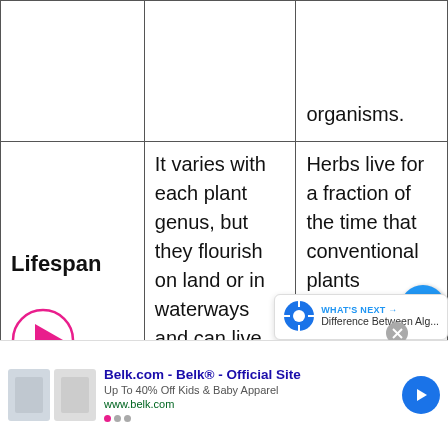|  |  |  |
| --- | --- | --- |
|  |  | organisms. |
| Lifespan | It varies with each plant genus, but they flourish on land or in waterways and can live anyplace on | Herbs live for a fraction of the time that conventional plan... |
[Figure (other): UI overlay elements: heart/like button, share button, count badge, What's Next widget showing 'Difference Between Alg...', advertisement bar for Belk.com with clothing images and navigation arrows]